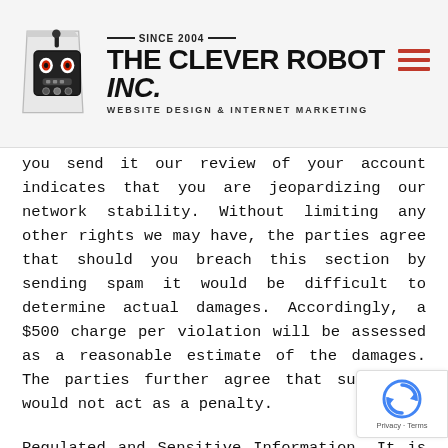THE CLEVER ROBOT INC. — SINCE 2004 — WEBSITE DESIGN & INTERNET MARKETING
you send it our review of your account indicates that you are jeopardizing our network stability. Without limiting any other rights we may have, the parties agree that should you breach this section by sending spam it would be difficult to determine actual damages. Accordingly, a $500 charge per violation will be assessed as a reasonable estimate of the damages. The parties further agree that such $500 would not act as a penalty.
Regulated and Sensitive Information. It is possible to run an ecommerce site on our platform, provided that you follow some best practices that prevent credit card information from being processed or stored on our platform. For more information on those best